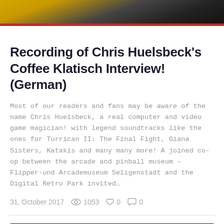[Figure (photo): Top banner image showing a dark scene with yellow/gold and red accent coloring]
Recording of Chris Huelsbeck's Coffee Klatisch Interview! (German)
Most of our readers and fans may be aware of the name Chris Huelsbeck, a real computer and video game magician! with legend soundtracks like the ones for Turrican II: The Final Fight, Giana Sisters, Katakis and many many more! A joined co-op between the arcade and pinball museum – Flipper-und Arcademuseum Seligenstadt and the Digital Retro Park invited…
31. October 2017   👁 1053   ♡ 0   💬 0
[Figure (photo): Bottom banner image showing dark vinyl record or similar dark circular object with blue Facebook and another social media icon visible at bottom]